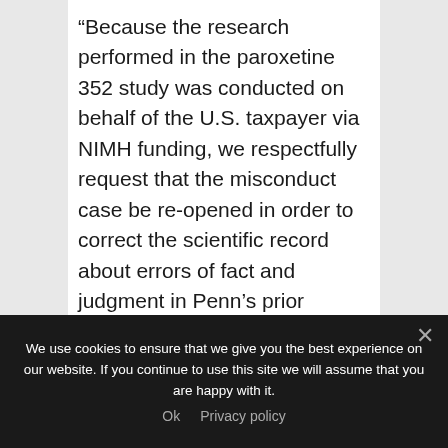“Because the research performed in the paroxetine 352 study was conducted on behalf of the U.S. taxpayer via NIMH funding, we respectfully request that the misconduct case be re-opened in order to correct the scientific record about errors of fact and judgment in Penn’s prior adjudication of this case,” Amsterdam wrote.
We use cookies to ensure that we give you the best experience on our website. If you continue to use this site we will assume that you are happy with it.